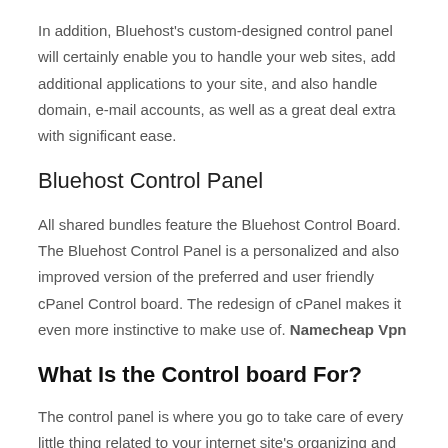In addition, Bluehost's custom-designed control panel will certainly enable you to handle your web sites, add additional applications to your site, and also handle domain, e-mail accounts, as well as a great deal extra with significant ease.
Bluehost Control Panel
All shared bundles feature the Bluehost Control Board. The Bluehost Control Panel is a personalized and also improved version of the preferred and user friendly cPanel Control board. The redesign of cPanel makes it even more instinctive to make use of. Namecheap Vpn
What Is the Control board For?
The control panel is where you go to take care of every little thing related to your internet site's organizing and accounts, including domain name management (hosting, enrollment, revivals, or